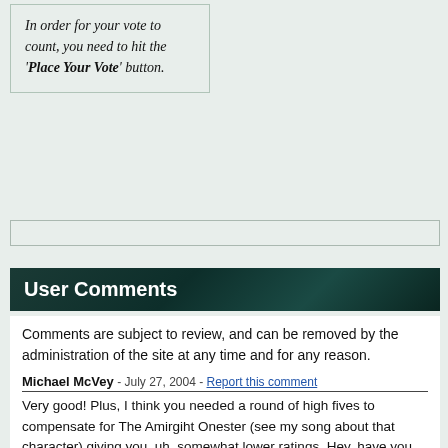In order for your vote to count, you need to hit the 'Place Your Vote' button.
User Comments
Comments are subject to review, and can be removed by the administration of the site at any time and for any reason.
Michael McVey - July 27, 2004 - Report this comment
Very good! Plus, I think you needed a round of high fives to compensate for The Amirgiht Onester (see my song about that character) giving you, uh, somewhat lower ratings. Hey, have you heard of Roy D. Mercer? If not, check out the KMOD website: http://www.kmod.com/philbrent.html
I have my own parody of this, "(Roy D's Gonna) Whoop You In The A**", so check it out (my title is not censored). -- MM